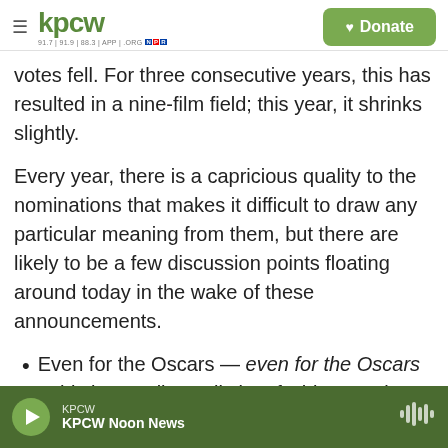KPCW | Donate
votes fell. For three consecutive years, this has resulted in a nine-film field; this year, it shrinks slightly.
Every year, there is a capricious quality to the nominations that makes it difficult to draw any particular meaning from them, but there are likely to be a few discussion points floating around today in the wake of these announcements.
Even for the Oscars — even for the Oscars – this is a really, really lot of white people. Every nominated actor in Lead and Supporting categories
KPCW | KPCW Noon News